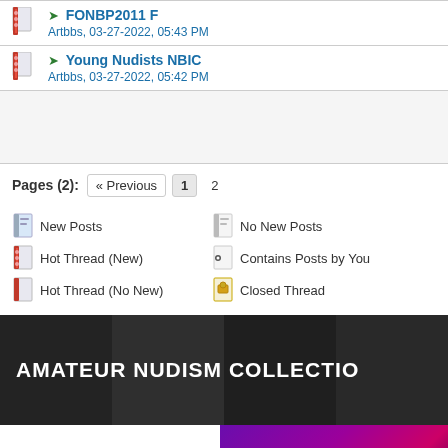FONBP2011 F — Artbbs, 03-27-2022, 05:43 PM
Young Nudists NBIC — Artbbs, 03-27-2022, 05:42 PM
Pages (2): « Previous  1  2
New Posts
No New Posts
Hot Thread (New)
Contains Posts by You
Hot Thread (No New)
Closed Thread
[Figure (screenshot): Amateur Nudism Collection banner with dark background and photo panels]
[Figure (screenshot): Candy-themed purple/pink banner with stylized Candy text]
Forum Team | Contact Us | Art BBS - Art Models Forum | Return to Top | Lite (A
Powered By MyBB, © 2002-2022 MyBB Group.